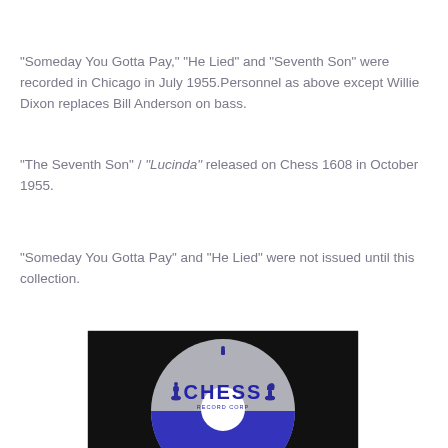"Someday You Gotta Pay," "He Lied" and "Seventh Son" were recorded in Chicago in July 1955.Personnel as above except Willie Dixon replaces Bill Anderson on bass.
"The Seventh Son" / "Lucinda" released on Chess 1608 in October 1955.
"Someday You Gotta Pay" and "He Lied" were not issued until this collection.
[Figure (photo): A Chess Records Corp vinyl 45 RPM record label showing the Chess logo with chess piece knight figures and 'RECORD CORP' text, upper half grey with blue text, lower half blue/purple.]